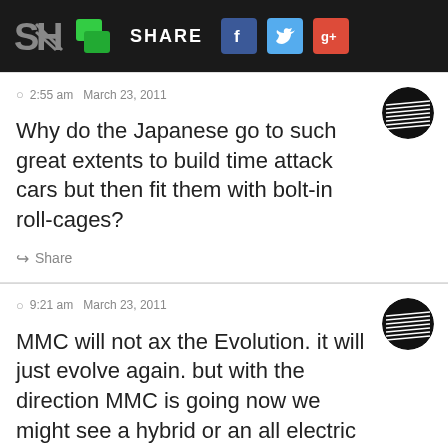SH  SHARE  [Facebook] [Twitter] [Google+]
© 2:55 am  March 23, 2011
Why do the Japanese go to such great extents to build time attack cars but then fit them with bolt-in roll-cages?
↪ Share
© 9:21 am  March 23, 2011
MMC will not ax the Evolution. it will just evolve again. but with the direction MMC is going now we might see a hybrid or an all electric Evo. but nothing beats a four cylinder turbo charged petrol engine for